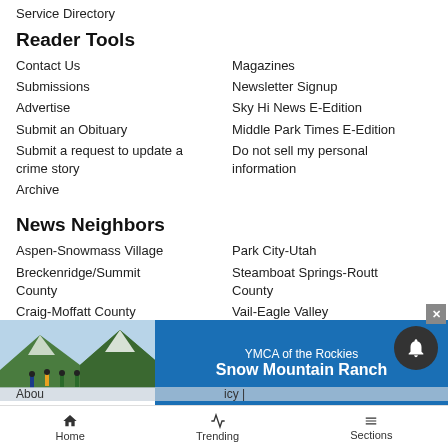Service Directory
Reader Tools
Contact Us
Magazines
Submissions
Newsletter Signup
Advertise
Sky Hi News E-Edition
Submit an Obituary
Middle Park Times E-Edition
Submit a request to update a crime story
Do not sell my personal information
Archive
News Neighbors
Aspen-Snowmass Village
Park City-Utah
Breckenridge/Summit County
Steamboat Springs-Routt County
Craig-Moffatt County
Vail-Eagle Valley
Glenwood Springs-Rifle
[Figure (photo): YMCA of the Rockies Snow Mountain Ranch advertisement banner with people cross-country skiing in snowy mountain landscape]
Home   Trending   Sections